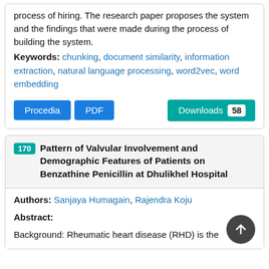process of hiring. The research paper proposes the system and the findings that were made during the process of building the system.
Keywords: chunking, document similarity, information extraction, natural language processing, word2vec, word embedding
Procedia  PDF  Downloads 58
170 Pattern of Valvular Involvement and Demographic Features of Patients on Benzathine Penicillin at Dhulikhel Hospital
Authors: Sanjaya Humagain, Rajendra Koju
Abstract:
Background: Rheumatic heart disease (RHD) is the